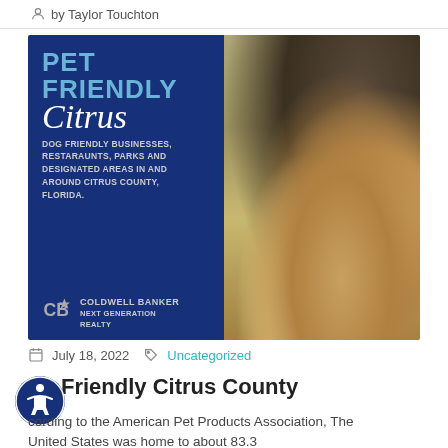by Taylor Touchton
[Figure (illustration): Pet Friendly Citrus County promotional image split in two: left side shows dark blue background with text 'PET FRIENDLY Citrus - DOG FRIENDLY BUSINESSES, RESTARAUNTS, PARKS AND DESIGNATED AREAS IN AND AROUND CITRUS COUNTY, FLORIDA.' with Coldwell Banker Next Generation Realty logo; right side shows photo of dogs outdoors]
July 18, 2022  Uncategorized
do Friendly Citrus County
cording to the American Pet Products Association, The United States was home to about 83.3